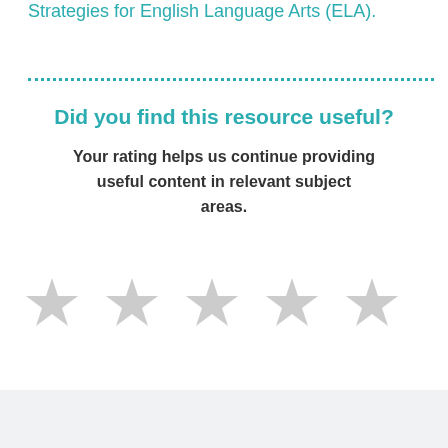Strategies for English Language Arts (ELA).
Did you find this resource useful?
Your rating helps us continue providing useful content in relevant subject areas.
[Figure (other): Five gray empty star rating icons arranged horizontally for user rating input]
Get notified when new AVID Open